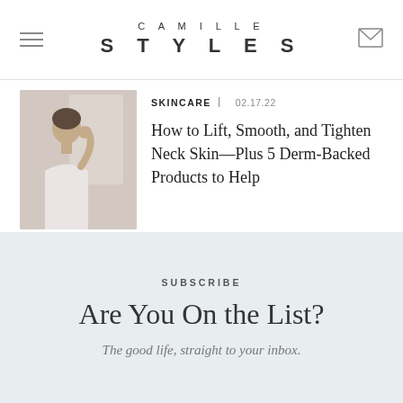CAMILLE STYLES
[Figure (photo): Woman touching her neck while looking in a mirror]
SKINCARE | 02.17.22
How to Lift, Smooth, and Tighten Neck Skin—Plus 5 Derm-Backed Products to Help
SUBSCRIBE
Are You On the List?
The good life, straight to your inbox.